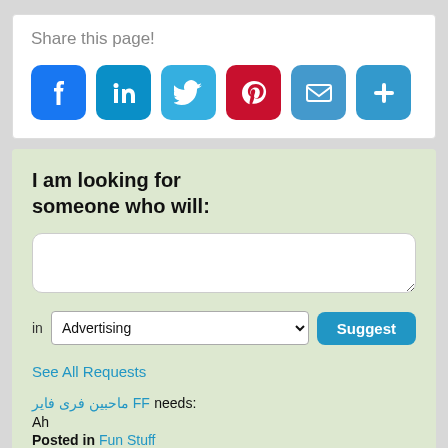Share this page!
[Figure (infographic): Social sharing icons: Facebook (blue), LinkedIn (teal-blue), Twitter (light blue), Pinterest (red), Email (blue envelope), More/Plus (blue plus)]
I am looking for someone who will:
in Advertising [dropdown] [Suggest button]
See All Requests
ماحبین فری فایر FF needs: Ah
Posted in Fun Stuff